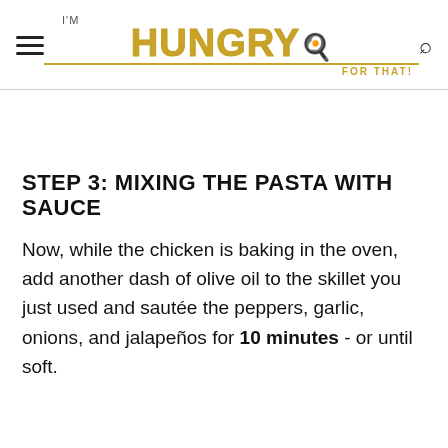I'm HUNGRY FOR THAT! [logo]
STEP 3: MIXING THE PASTA WITH SAUCE
Now, while the chicken is baking in the oven, add another dash of olive oil to the skillet you just used and sautée the peppers, garlic, onions, and jalapeños for 10 minutes - or until soft.